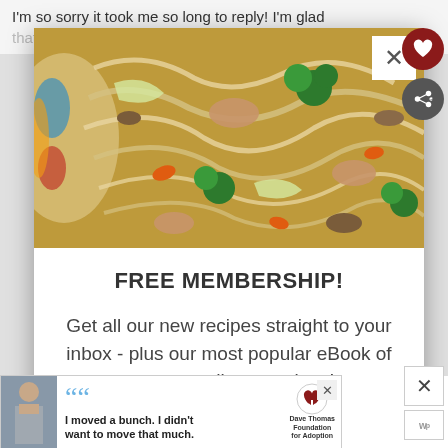I'm so sorry it took me so long to reply! I'm glad that you loved the orion...
[Figure (photo): Close-up photo of a stir-fry dish with noodles, chicken, broccoli, carrots, mushrooms, and cabbage in a colorful bowl]
FREE MEMBERSHIP!
Get all our new recipes straight to your inbox - plus our most popular eBook of awesome dinner recipes!
[Figure (infographic): Advertisement banner: young man with quote 'I moved a bunch. I didn't want to move that much.' with Dave Thomas Foundation for Adoption logo]